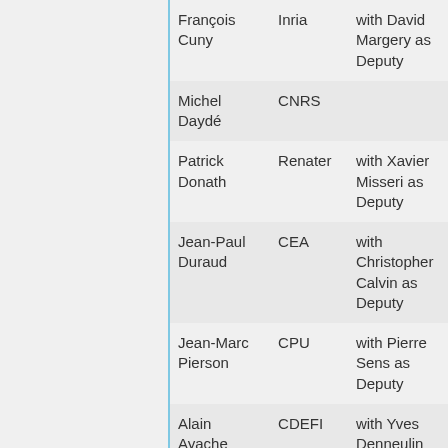| François Cuny | Inria | with David Margery as Deputy |
| Michel Daydé | CNRS |  |
| Patrick Donath | Renater | with Xavier Misseri as Deputy |
| Jean-Paul Duraud | CEA | with Christopher Calvin as Deputy |
| Jean-Marc Pierson | CPU | with Pierre Sens as Deputy |
| Alain Ayache | CDEFI | with Yves Denneulin as Deputy |